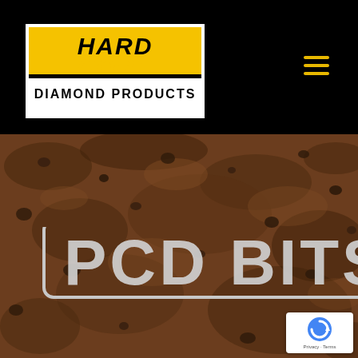[Figure (logo): Hard Core Diamond Products logo — black bordered rectangle with yellow top half showing 'HARD CORE' in bold black italic text and 'DIAMOND PRODUCTS' in bold black text on white bottom half]
[Figure (photo): Close-up photo of dark brown soil/dirt with small rock fragments, background for PCD Bits product page]
PCD BITS